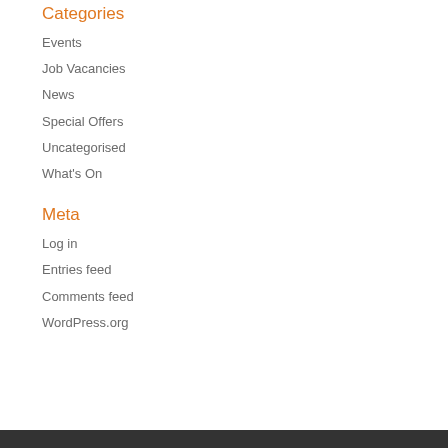Categories
Events
Job Vacancies
News
Special Offers
Uncategorised
What's On
Meta
Log in
Entries feed
Comments feed
WordPress.org